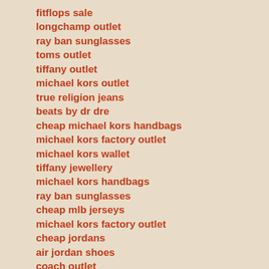fitflops sale
longchamp outlet
ray ban sunglasses
toms outlet
tiffany outlet
michael kors outlet
true religion jeans
beats by dr dre
cheap michael kors handbags
michael kors factory outlet
michael kors wallet
tiffany jewellery
michael kors handbags
ray ban sunglasses
cheap mlb jerseys
michael kors factory outlet
cheap jordans
air jordan shoes
coach outlet
swarovski crystal
michael kors outlet store
discount michael kors handbags